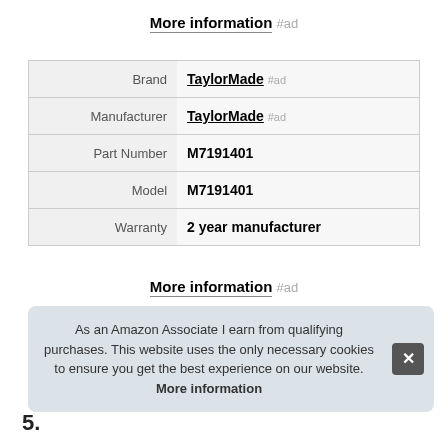More information #ad
|  |  |
| --- | --- |
| Brand | TaylorMade #ad |
| Manufacturer | TaylorMade #ad |
| Part Number | M7191401 |
| Model | M7191401 |
| Warranty | 2 year manufacturer |
More information #ad
As an Amazon Associate I earn from qualifying purchases. This website uses the only necessary cookies to ensure you get the best experience on our website. More information
5.